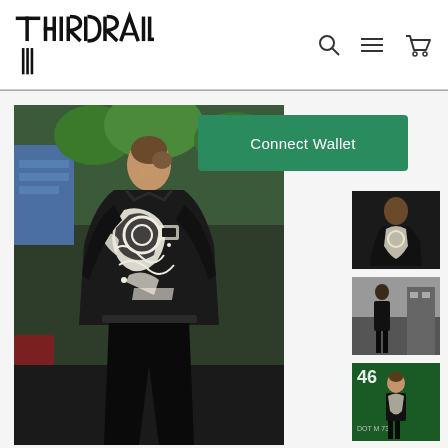THIRDRAIL — website header with logo, search, menu, and cart icons
[Figure (photo): Fashion photo of a model from behind wearing a black jacket with abstract graphic print on the back, standing on a city street with green trees and buildings in background]
[Figure (screenshot): Connect Wallet green button overlay]
[Figure (photo): Thumbnail 1: model wearing patterned jacket from behind]
[Figure (photo): Thumbnail 2: model full length in black outfit on street]
[Figure (photo): Thumbnail 3: model in front of green wall with number 46]
[Figure (photo): Thumbnail 4: partial view of model]